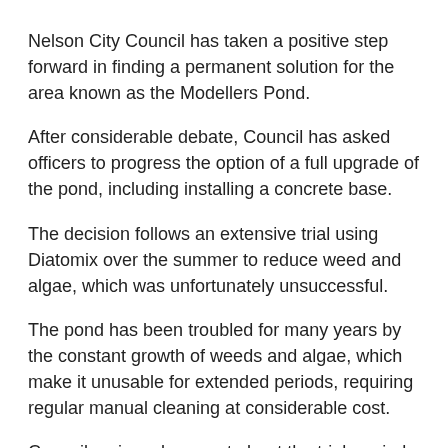Nelson City Council has taken a positive step forward in finding a permanent solution for the area known as the Modellers Pond.
After considerable debate, Council has asked officers to progress the option of a full upgrade of the pond, including installing a concrete base.
The decision follows an extensive trial using Diatomix over the summer to reduce weed and algae, which was unfortunately unsuccessful.
The pond has been troubled for many years by the constant growth of weeds and algae, which make it unusable for extended periods, requiring regular manual cleaning at considerable cost.
Council reviewed a report about the trial carried out over summer, which involved dosing the pond with a diatom fertiliser. The independent scientific analysis of